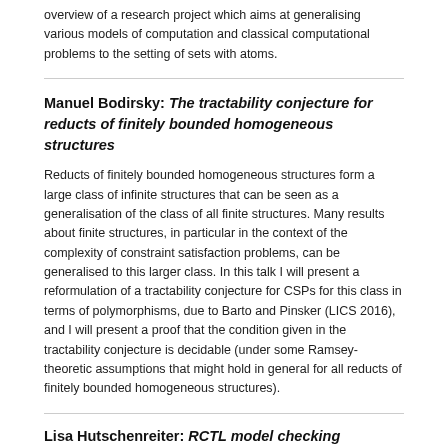overview of a research project which aims at generalising various models of computation and classical computational problems to the setting of sets with atoms.
Manuel Bodirsky: The tractability conjecture for reducts of finitely bounded homogeneous structures
Reducts of finitely bounded homogeneous structures form a large class of infinite structures that can be seen as a generalisation of the class of all finite structures. Many results about finite structures, in particular in the context of the complexity of constraint satisfaction problems, can be generalised to this larger class. In this talk I will present a reformulation of a tractability conjecture for CSPs for this class in terms of polymorphisms, due to Barto and Pinsker (LICS 2016), and I will present a proof that the condition given in the tractability conjecture is decidable (under some Ramsey-theoretic assumptions that might hold in general for all reducts of finitely bounded homogeneous structures).
Lisa Hutschenreiter: RCTL model checking